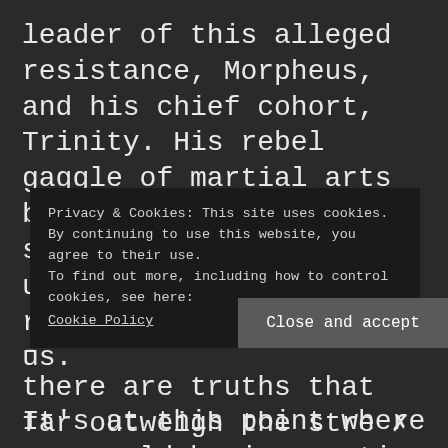leader of this alleged resistance, Morpheus, and his chief cohort, Trinity. His rebel gaggle of martial arts breakers of gravity is set on a course to unveil what the Matrix really is to the rest of us.
It's at this point where you could begin counting the metaphysical and biblical overtones. The Wachowskis must have a King James Bible highlighted on every page,
Privacy & Cookies: This site uses cookies. By continuing to use this website, you agree to their use.
To find out more, including how to control cookies, see here: Cookie Policy
there are truths that far outweigh the stre x